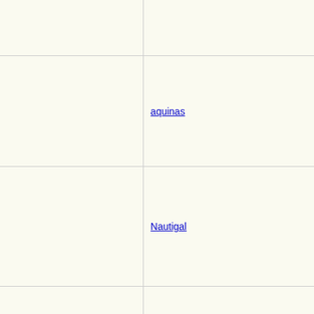| Topic | Author |
| --- | --- |
| Re: Not-really-brag-so-much-as-quirky-anecdote thread | (cut off) |
| Re: Not-really-brag-so-much-as-quirky-anecdote thread | aquinas |
| Re: Not-really-brag-so-much-as-quirky-anecdote thread | Nautigal |
| Re: Not-really-brag-so-much-as-quirky-anecdote thread | SiaSL |
| Re: Not-really-brag-so-much-as-quirky-anecdote thread | Loy58 |
| Re: Not-really-brag-so-much-as-quirky-anecdote thread | Mana |
| Re: Not-really-brag-so-much-as-quirky-anecdote thread | (cut off) |